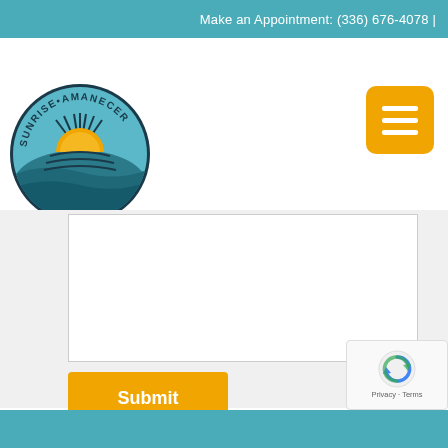Make an Appointment: (336) 676-4078 |
[Figure (logo): Sunrise Amanecer circular logo with sun rising over water, teal and orange colors]
[Figure (other): Orange hamburger menu button with three white horizontal lines]
[Figure (other): Empty white textarea input field with resize handle]
Submit
[Figure (other): reCAPTCHA widget showing rotating arrows icon with Privacy - Terms text]